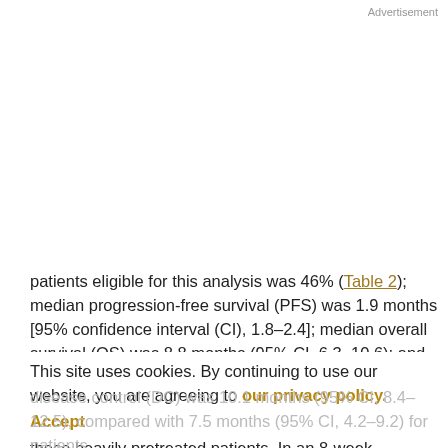Advertisement
patients eligible for this analysis was 46% (Table 2); median progression-free survival (PFS) was 1.9 months [95% confidence interval (CI), 1.8–2.4]; median overall survival (OS) was 8.8 months (95% CI, 6.3–10.6); and 1-year survival was 35% (Supplementary Fig. S1). The median patient follow-up was 10.3 months. There were no complete responses and only 9 partial responses in these heavily pretreated patients. In an 8-week landmark
This site uses cookies. By continuing to use our website, you are agreeing to our privacy policy. Accept
disease control (DC) was 10.1 months (95% CI, 8.4–12.5), compared with 7.5 months (95% CI, 4.2–9.2) for patients